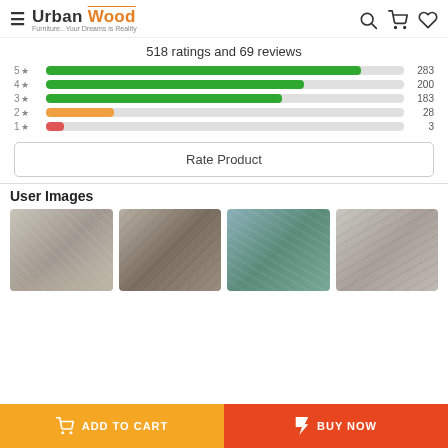Urban Wood — Furniture.. Your Dreams is Reality
518 ratings and 69 reviews
[Figure (bar-chart): Star ratings breakdown]
Rate Product
User Images
[Figure (photo): Four user-submitted product photos showing furniture items]
ADD TO CART
BUY NOW